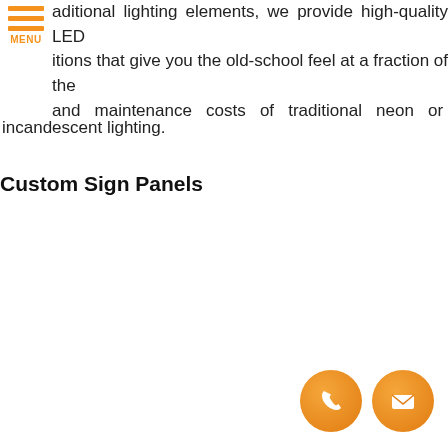[Figure (other): Orange hamburger menu icon with three horizontal lines and MENU text below]
additional lighting elements, we provide high-quality LED solutions that give you the old-school feel at a fraction of the and maintenance costs of traditional neon or incandescent lighting.
Custom Sign Panels
[Figure (other): Two orange circular icons: a phone/call icon and an email/envelope icon]